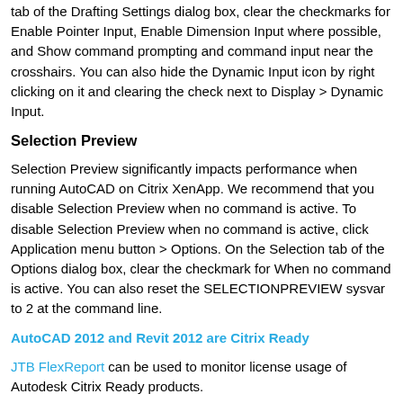tab of the Drafting Settings dialog box, clear the checkmarks for Enable Pointer Input, Enable Dimension Input where possible, and Show command prompting and command input near the crosshairs. You can also hide the Dynamic Input icon by right clicking on it and clearing the check next to Display > Dynamic Input.
Selection Preview
Selection Preview significantly impacts performance when running AutoCAD on Citrix XenApp. We recommend that you disable Selection Preview when no command is active. To disable Selection Preview when no command is active, click Application menu button > Options. On the Selection tab of the Options dialog box, clear the checkmark for When no command is active. You can also reset the SELECTIONPREVIEW sysvar to 2 at the command line.
AutoCAD 2012 and Revit 2012 are Citrix Ready
JTB FlexReport can be used to monitor license usage of Autodesk Citrix Ready products.